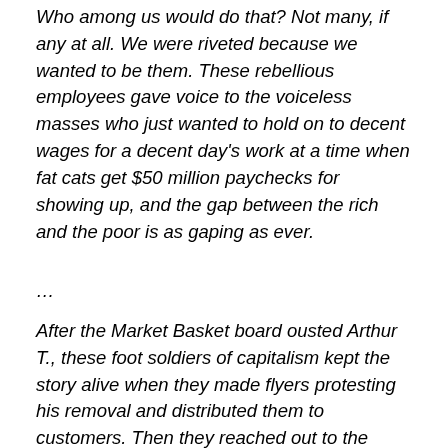Who among us would do that? Not many, if any at all. We were riveted because we wanted to be them. These rebellious employees gave voice to the voiceless masses who just wanted to hold on to decent wages for a decent day's work at a time when fat cats get $50 million paychecks for showing up, and the gap between the rich and the poor is as gaping as ever.
…
After the Market Basket board ousted Arthur T., these foot soldiers of capitalism kept the story alive when they made flyers protesting his removal and distributed them to customers. Then they reached out to the media and politicians to talk about their improbable demand. Soon workers walked off the job and refused to restock shelves